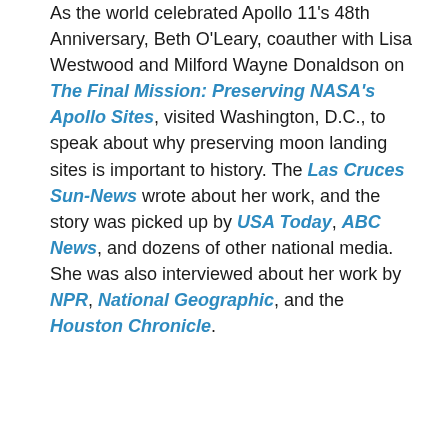As the world celebrated Apollo 11's 48th Anniversary, Beth O'Leary, coauther with Lisa Westwood and Milford Wayne Donaldson on The Final Mission: Preserving NASA's Apollo Sites, visited Washington, D.C., to speak about why preserving moon landing sites is important to history. The Las Cruces Sun-News wrote about her work, and the story was picked up by USA Today, ABC News, and dozens of other national media. She was also interviewed about her work by NPR, National Geographic, and the Houston Chronicle.